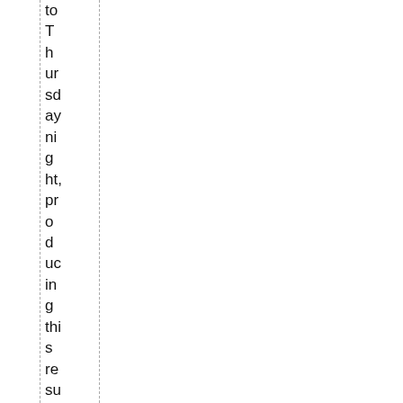to Thursday night, producing this result: an AP Article fr o